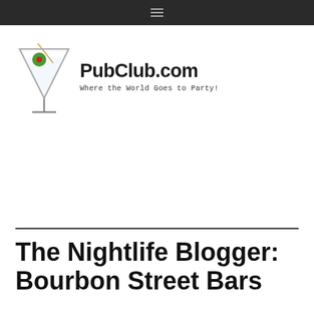Navigation menu
[Figure (logo): PubClub.com logo with martini glass graphic and tagline 'Where the World Goes to Party!']
The Nightlife Blogger: Bourbon Street Bars